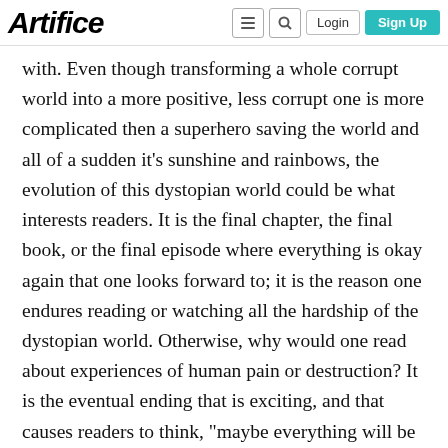Artifice | Login | Sign Up
with. Even though transforming a whole corrupt world into a more positive, less corrupt one is more complicated then a superhero saving the world and all of a sudden it’s sunshine and rainbows, the evolution of this dystopian world could be what interests readers. It is the final chapter, the final book, or the final episode where everything is okay again that one looks forward to; it is the reason one endures reading or watching all the hardship of the dystopian world. Otherwise, why would one read about experiences of human pain or destruction? It is the eventual ending that is exciting, and that causes readers to think, “maybe everything will be okay” or